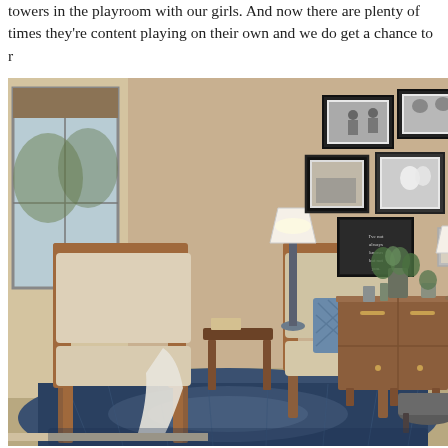towers in the playroom with our girls. And now there are plenty of times they're content playing on their own and we do get a chance to r
[Figure (photo): Interior living room photo showing two mid-century modern wooden armchairs with beige/cream upholstery on a blue patterned rug. A wooden credenza/sideboard sits against a tan/beige wall covered with a gallery wall of black and white framed photos. A lamp, vase with greenery, and decorative objects are on the credenza. A window with a bamboo shade is on the left wall.]